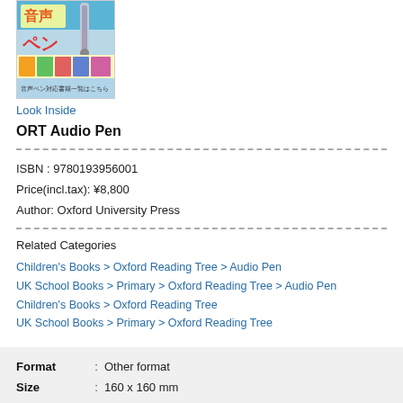[Figure (photo): Book product image showing Japanese text and an audio pen device with colorful cover]
Look Inside
ORT Audio Pen
ISBN : 9780193956001
Price(incl.tax): ¥8,800
Author: Oxford University Press
Related Categories
Children's Books > Oxford Reading Tree > Audio Pen
UK School Books > Primary > Oxford Reading Tree > Audio Pen
Children's Books > Oxford Reading Tree
UK School Books > Primary > Oxford Reading Tree
|  |  |  |
| --- | --- | --- |
| Format | : | Other format |
| Size | : | 160 x 160 mm |